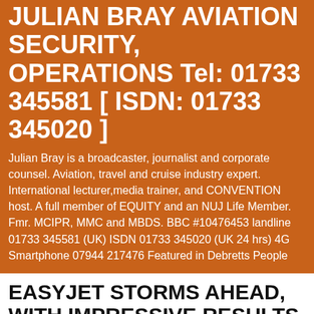JULIAN BRAY AVIATION SECURITY, OPERATIONS Tel: 01733 345581 [ ISDN: 01733 345020 ]
Julian Bray is a broadcaster, journalist and corporate counsel. Aviation, travel and cruise industry expert. International lecturer,media trainer, and CONVENTION host. A full member of EQUITY and an NUJ Life Member. Fmr. MCIPR, MMC and MBDS. BBC #10476453 landline 01733 345581 (UK) ISDN 01733 345020 (UK 24 hrs) 4G Smartphone 07944 217476 Featured in Debretts People
EASYJET STORMS AHEAD, WITH IMPRESSIVE RESULTS UNDER NEW CHIEF EXECUTIVE
[Figure (photo): Partial photo visible at bottom of page, cropped]